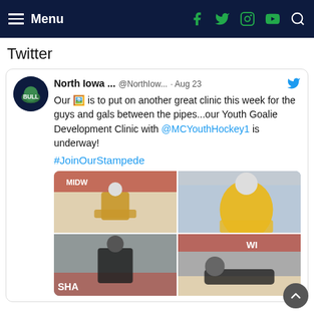Menu
Twitter
North Iowa ... @NorthIow... · Aug 23
Our 🖼 is to put on another great clinic this week for the guys and gals between the pipes...our Youth Goalie Development Clinic with @MCYouthHockey1 is underway!
#JoinOurStampede
[Figure (photo): Four-panel photo collage of youth hockey goalie development clinic on ice, showing goalies in various positions and coaches.]